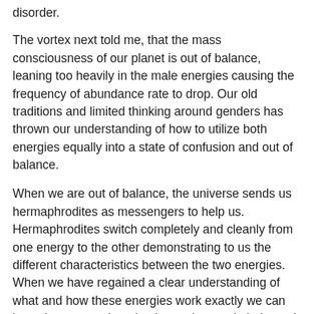disorder.
The vortex next told me, that the mass consciousness of our planet is out of balance, leaning too heavily in the male energies causing the frequency of abundance rate to drop. Our old traditions and limited thinking around genders has thrown our understanding of how to utilize both energies equally into a state of confusion and out of balance.
When we are out of balance, the universe sends us hermaphrodites as messengers to help us. Hermaphrodites switch completely and cleanly from one energy to the other demonstrating to us the different characteristics between the two energies. When we have regained a clear understanding of what and how these energies work exactly we can know how to put them back together again balanced. Each person on this planet taking measures regain balance will eventually rebalance the entire planet.